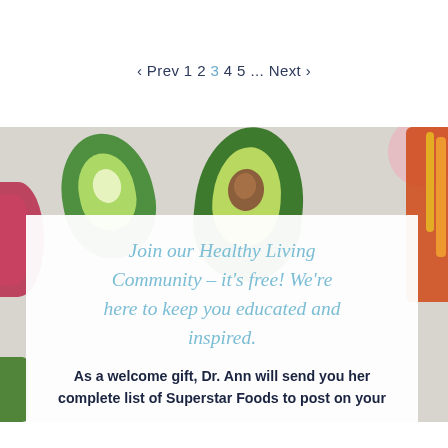‹ Prev 1 2 3 4 5 ... Next ›
[Figure (photo): Top-down photo of halved avocados on a light surface, with colorful vegetables visible on the sides (red onion, bell peppers, greens).]
Join our Healthy Living Community – it's free! We're here to keep you educated and inspired.
As a welcome gift, Dr. Ann will send you her complete list of Superstar Foods to post on your